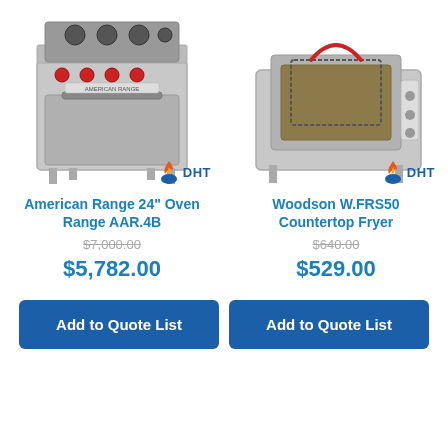[Figure (photo): American Range 24 inch Oven Range AAR.4B stainless steel commercial range with 4 burners and DHT logo]
[Figure (photo): Woodson W.FRS50 Countertop Fryer stainless steel with basket and DHT logo]
American Range 24" Oven Range AAR.4B
Woodson W.FRS50 Countertop Fryer
$7,000.00 (original price, strikethrough)
$640.00 (original price, strikethrough)
$5,782.00
$529.00
Add to Quote List
Add to Quote List